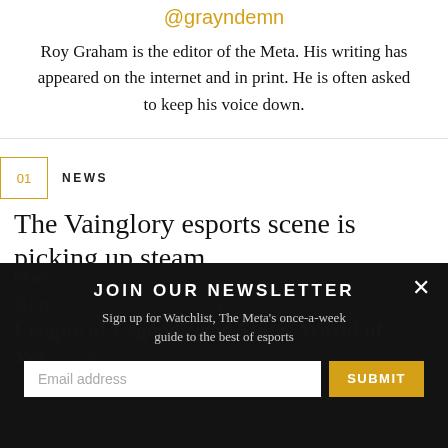@grayndemn
Roy Graham is the editor of the Meta. His writing has appeared on the internet and in print. He is often asked to keep his voice down.
NEWS
The Vainglory esports scene is picking up steam
JOIN OUR NEWSLETTER
Sign up for Watchlist, The Meta's once-a-week guide to the best of esports
NEWS
Replacing the mid laner for League of Legends, red states World of Warcraft…